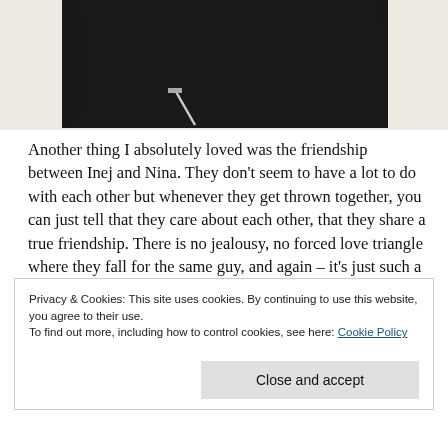[Figure (illustration): Black and white graphic novel style illustration of two figures in dark coats, one holding a sword, against a dramatic splatter background.]
Another thing I absolutely loved was the friendship between Inej and Nina. They don't seem to have a lot to do with each other but whenever they get thrown together, you can just tell that they care about each other, that they share a true friendship. There is no jealousy, no forced love triangle where they fall for the same guy, and again – it's just such a relief that YA novels dare to go without that old
Privacy & Cookies: This site uses cookies. By continuing to use this website, you agree to their use.
To find out more, including how to control cookies, see here: Cookie Policy
Close and accept